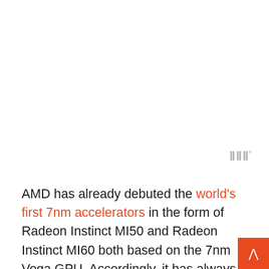[Figure (logo): Three vertical bars logo with superscript degree symbol in gray]
AMD has already debuted the world's first 7nm accelerators in the form of Radeon Instinct MI50 and Radeon Instinct MI60 both based on the 7nm Vega GPU. Accordingly, it has always been assumed that the company would only introduce its professional-grade products at CES 2019.
In addition to its first 7nm data center GPUs, AMD expected to showcase the new Epyc processors with up to 64 cores built with the revised Zen 2